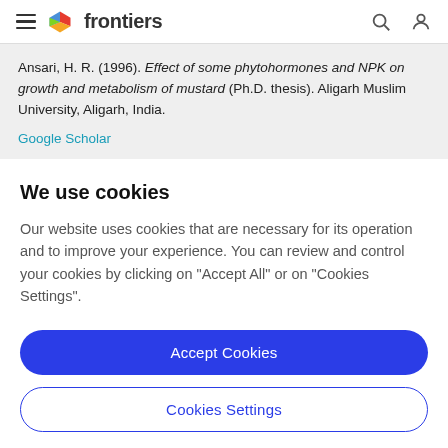frontiers
Ansari, H. R. (1996). Effect of some phytohormones and NPK on growth and metabolism of mustard (Ph.D. thesis). Aligarh Muslim University, Aligarh, India.
Google Scholar
We use cookies
Our website uses cookies that are necessary for its operation and to improve your experience. You can review and control your cookies by clicking on "Accept All" or on "Cookies Settings".
Accept Cookies
Cookies Settings